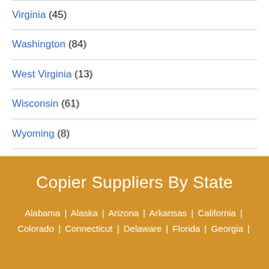Virginia (45)
Washington (84)
West Virginia (13)
Wisconsin (61)
Wyoming (8)
Copier Suppliers By State
Alabama | Alaska | Arizona | Arkansas | California | Colorado | Connecticut | Delaware | Florida | Georgia |